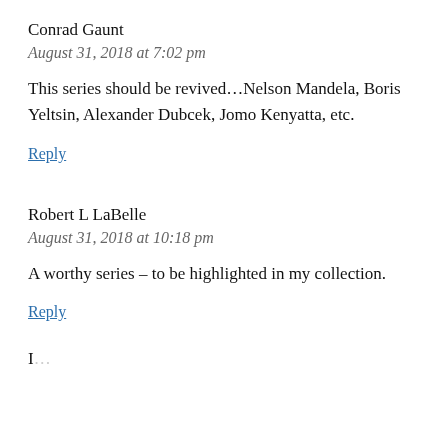Conrad Gaunt
August 31, 2018 at 7:02 pm
This series should be revived…Nelson Mandela, Boris Yeltsin, Alexander Dubcek, Jomo Kenyatta, etc.
Reply
Robert L LaBelle
August 31, 2018 at 10:18 pm
A worthy series – to be highlighted in my collection.
Reply
I...